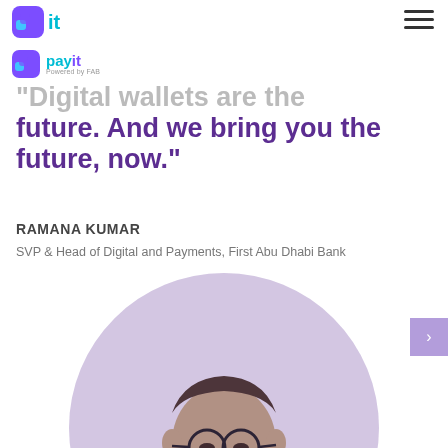payit — Powered by FAB
[Figure (logo): payit logo with blue/purple icon and 'payit Powered by FAB' text]
"Digital wallets are the future. And we bring you the future, now."
RAMANA KUMAR
SVP & Head of Digital and Payments, First Abu Dhabi Bank
[Figure (photo): Portrait photo of Ramana Kumar in purple/grey duotone, shown from shoulders up with glasses, inside a light purple circle background]